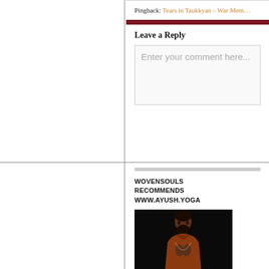Pingback: Tears in Taukkyan – War Mem…
Leave a Reply
Enter your comment here...
WOVENSOULS RECOMMENDS WWW.AYUSH.YOGA
[Figure (photo): Man with beard in red/orange attire with hands in prayer gesture on dark background]
REVIEWS WOVENSOULS GALL…